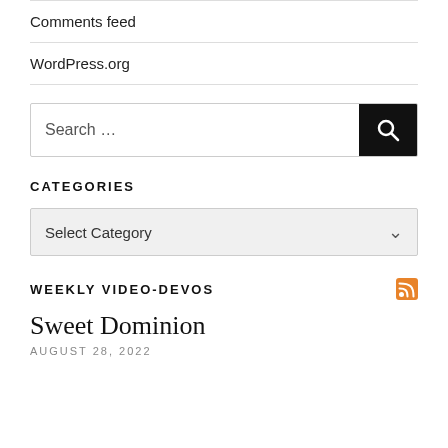Comments feed
WordPress.org
Search …
CATEGORIES
Select Category
WEEKLY VIDEO-DEVOS
Sweet Dominion
AUGUST 28, 2022